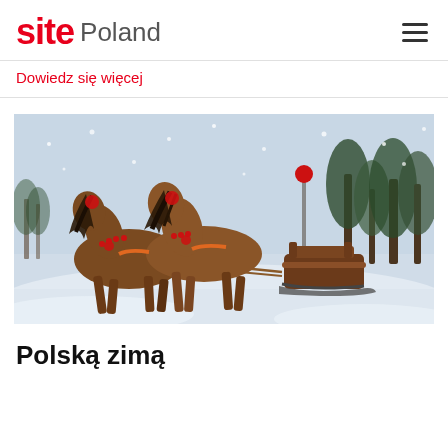site Poland
Dowiedz się więcej
[Figure (photo): Two brown horses decorated with red pompoms pulling a sleigh through a snowy winter landscape. The horses have long black manes blowing in the wind. A person sits on a wooden sleigh bench in the background. Snow is falling and pine trees are visible in the distance.]
Polską zimą